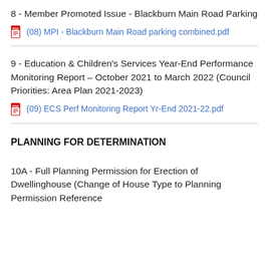8 - Member Promoted Issue - Blackburn Main Road Parking
(08) MPI - Blackburn Main Road parking combined.pdf
9 - Education & Children's Services Year-End Performance Monitoring Report – October 2021 to March 2022 (Council Priorities: Area Plan 2021-2023)
(09) ECS Perf Monitoring Report Yr-End 2021-22.pdf
PLANNING FOR DETERMINATION
10A - Full Planning Permission for Erection of Dwellinghouse (Change of House Type to Planning Permission Reference